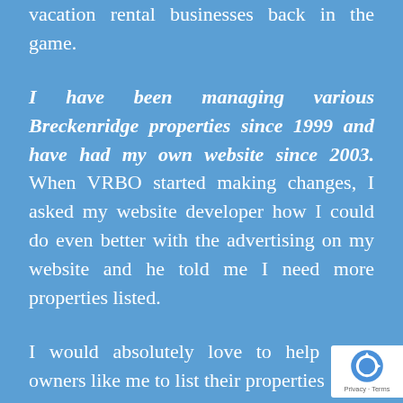vacation rental businesses back in the game.
I have been managing various Breckenridge properties since 1999 and have had my own website since 2003. When VRBO started making changes, I asked my website developer how I could do even better with the advertising on my website and he told me I need more properties listed.
I would absolutely love to help other owners like me to list their properties